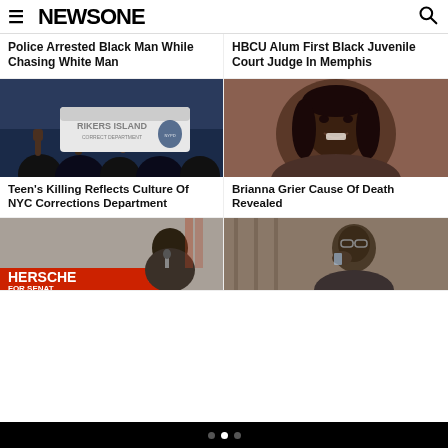NEWSONE
Police Arrested Black Man While Chasing White Man
HBCU Alum First Black Juvenile Court Judge In Memphis
[Figure (photo): Protesters raising fists in front of Rikers Island Corrections Department vehicle]
Teen's Killing Reflects Culture Of NYC Corrections Department
[Figure (photo): Young Black woman smiling, Brianna Grier]
Brianna Grier Cause Of Death Revealed
[Figure (photo): Herschel Walker at podium in front of Herschel for Senate banner]
[Figure (photo): Woman sitting in what appears to be a courtroom, drinking from a glass]